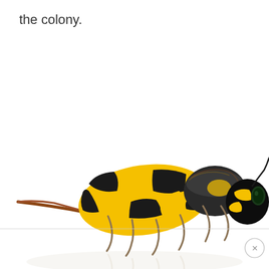the colony.
[Figure (photo): Close-up photograph of a yellow and black wasp (yellowjacket) viewed from the side, showing its distinctive striped abdomen, stinger, thorax with fur-like hair, and head with compound eye and antennae, on a white background. A faint reflection is visible below the wasp.]